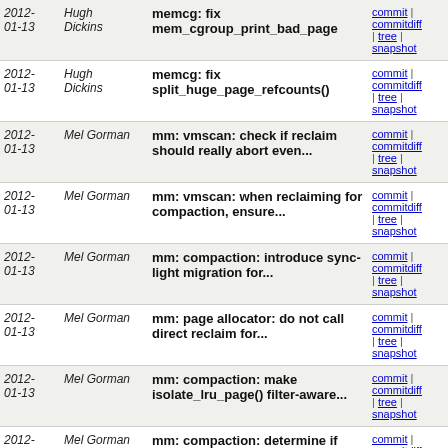| Date | Author | Commit message | Links |
| --- | --- | --- | --- |
| 2012-01-13 | Hugh Dickins | memcg: fix mem_cgroup_print_bad_page | commit | commitdiff | tree | snapshot |
| 2012-01-13 | Hugh Dickins | memcg: fix split_huge_page_refcounts() | commit | commitdiff | tree | snapshot |
| 2012-01-13 | Mel Gorman | mm: vmscan: check if reclaim should really abort even... | commit | commitdiff | tree | snapshot |
| 2012-01-13 | Mel Gorman | mm: vmscan: when reclaiming for compaction, ensure... | commit | commitdiff | tree | snapshot |
| 2012-01-13 | Mel Gorman | mm: compaction: introduce sync-light migration for... | commit | commitdiff | tree | snapshot |
| 2012-01-13 | Mel Gorman | mm: page allocator: do not call direct reclaim for... | commit | commitdiff | tree | snapshot |
| 2012-01-13 | Mel Gorman | mm: compaction: make isolate_lru_page() filter-aware... | commit | commitdiff | tree | snapshot |
| 2012-01-13 | Mel Gorman | mm: compaction: determine if dirty pages can be migrate... | commit | commitdiff | tree | snapshot |
| 2012-01-13 | Mel Gorman | mm: vmscan: do not OOM if aborting reclaim to start... | commit | commitdiff | tree | snapshot |
| 2012-01-13 | Andrea Arcangeli | mm: vmscan: check if we isolated a compound page during... | commit | commitdiff | tree | snapshot |
| 2012-01-13 | Mel Gorman | mm: compaction: use synchronous... | commit |